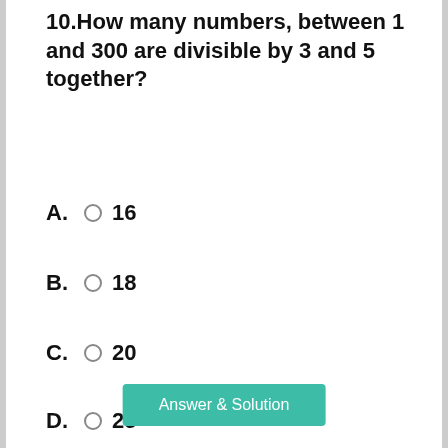10.How many numbers, between 1 and 300 are divisible by 3 and 5 together?
A. 16
B. 18
C. 20
D. 25
Answer & Solution